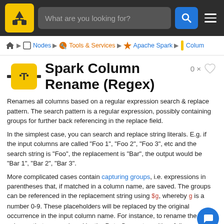What are you looking for?
Home ▶ Nodes ▶ Tools & Services ▶ Apache Spark ▶ Column
Spark Column Rename (Regex)
Renames all columns based on a regular expression search & replace pattern. The search pattern is a regular expression, possibly containing groups for further back referencing in the replace field.
In the simplest case, you can search and replace string literals. E.g. if the input columns are called "Foo 1", "Foo 2", "Foo 3", etc and the search string is "Foo", the replacement is "Bar", the output would be "Bar 1", "Bar 2", "Bar 3".
More complicated cases contain capturing groups, i.e. expressions in parentheses that, if matched in a column name, are saved. The groups can be referenced in the replacement string using $g, whereby g is a number 0-9. These placeholders will be replaced by the original occurrence in the input column name. For instance, to rename the columns that are produced by the Data Generator n (they follow a scheme Universe_<number1>_<number2>) to <number2 (Universe_<number1>) you would use as search string: